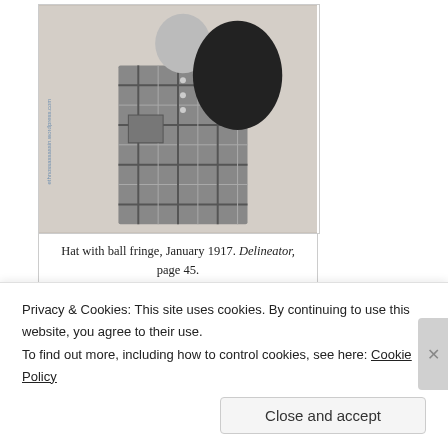[Figure (illustration): Black and white illustration of a figure wearing a plaid dress/outfit and holding a hat with ball fringe. Vertical text on left side reads 'ethnossassassin.wordpress.com'.]
Hat with ball fringe, January 1917. Delineator, page 45.
Sponsored Content
[Figure (photo): Thumbnail image for sponsored content showing a person, partially visible.]
How Stress Affects
Privacy & Cookies: This site uses cookies. By continuing to use this website, you agree to their use.
To find out more, including how to control cookies, see here: Cookie Policy
Close and accept